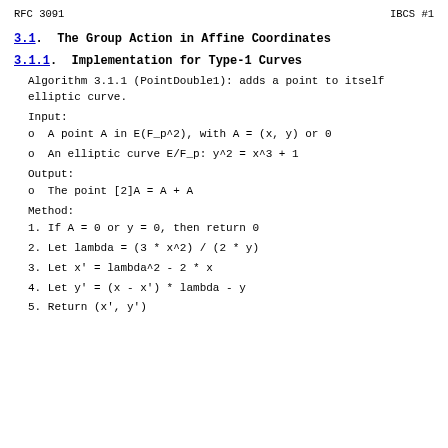RFC 3091                                              IBCS #1
3.1.  The Group Action in Affine Coordinates
3.1.1.  Implementation for Type-1 Curves
Algorithm 3.1.1 (PointDouble1): adds a point to itself on an elliptic curve.
Input:
o  A point A in E(F_p^2), with A = (x, y) or 0
o  An elliptic curve E/F_p: y^2 = x^3 + 1
Output:
o  The point [2]A = A + A
Method:
1. If A = 0 or y = 0, then return 0
2. Let lambda = (3 * x^2) / (2 * y)
3. Let x' = lambda^2 - 2 * x
4. Let y' = (x - x') * lambda - y
5. Return (x', y')